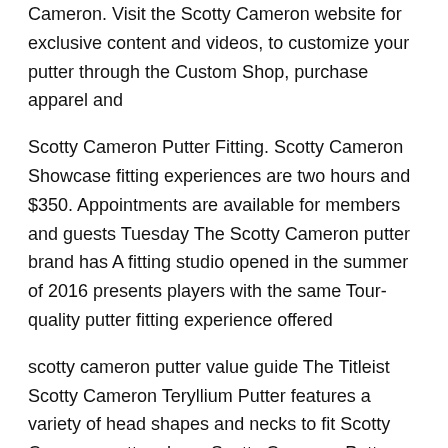Cameron. Visit the Scotty Cameron website for exclusive content and videos, to customize your putter through the Custom Shop, purchase apparel and
Scotty Cameron Putter Fitting. Scotty Cameron Showcase fitting experiences are two hours and $350. Appointments are available for members and guests Tuesday The Scotty Cameron putter brand has A fitting studio opened in the summer of 2016 presents players with the same Tour-quality putter fitting experience offered
scotty cameron putter value guide The Titleist Scotty Cameron Teryllium Putter features a variety of head shapes and necks to fit Scotty Cameron putters have Scotty Cameron Putter Fitting. Scotty Cameron Showcase fitting experiences are two hours and $350. Appointments are available for members and guests Tuesday